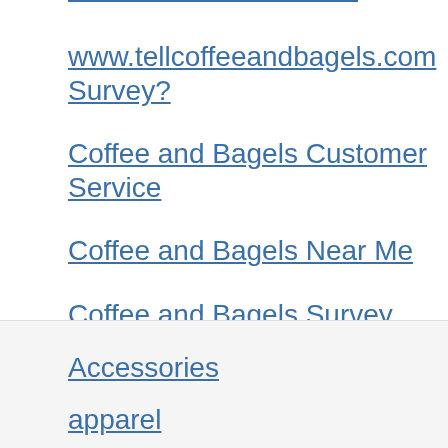www.tellcoffeeandbagels.com Survey?
Coffee and Bagels Customer Service
Coffee and Bagels Near Me
Coffee and Bagels Survey Site
Final Words
Accessories
apparel